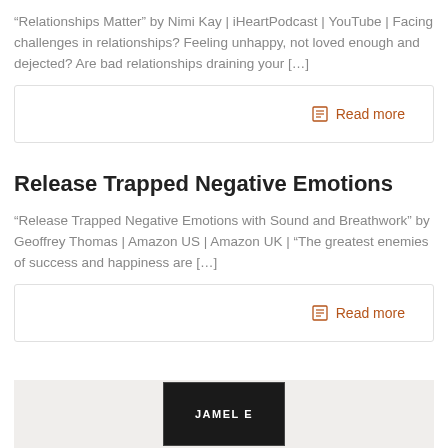“Relationships Matter” by Nimi Kay | iHeartPodcast | YouTube | Facing challenges in relationships? Feeling unhappy, not loved enough and dejected? Are bad relationships draining your […]
Read more
Release Trapped Negative Emotions
“Release Trapped Negative Emotions with Sound and Breathwork” by Geoffrey Thomas | Amazon US | Amazon UK | “The greatest enemies of success and happiness are […]
Read more
[Figure (photo): Partial view of a book cover showing text 'JAMEL E' on a dark background, partially cropped at the bottom of the page]